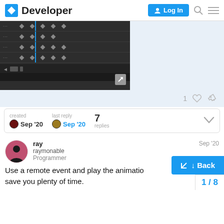Developer | Log In
[Figure (screenshot): Animation editor / keyframe timeline screenshot showing dark UI with diamond keyframes and a blue scrubber line, with scroll controls at the bottom]
1 ♡ 🔗
created
Sep '20
last reply
Sep '20
7 replies
ray
raymonable
Programmer
Sep '20
Use a remote event and play the animatio
save you plenty of time.